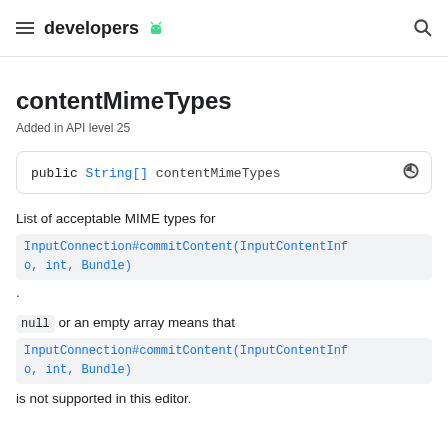developers
contentMimeTypes
Added in API level 25
public String[] contentMimeTypes
List of acceptable MIME types for InputConnection#commitContent(InputContentInfo, int, Bundle).
null or an empty array means that InputConnection#commitContent(InputContentInfo, int, Bundle) is not supported in this editor.